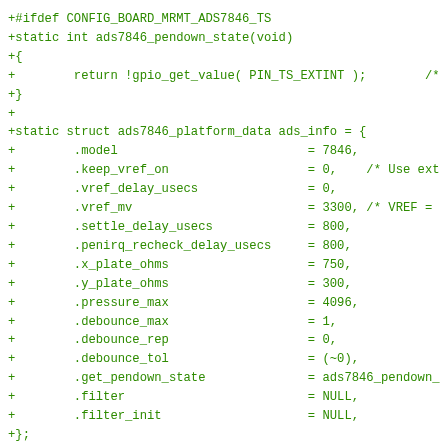[Figure (screenshot): Source code diff showing C code for ADS7846 touchscreen platform data configuration and SPI board info initialization, green monospace font on white background.]